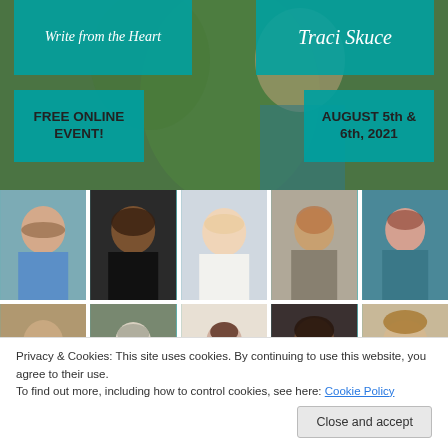[Figure (photo): Write from the Heart banner with host Traci Skuce, a woman with curly blonde hair resting her chin on her hand, against a green nature background. Teal overlays show event name, host name, 'FREE ONLINE EVENT!', and 'AUGUST 5th & 6th, 2021'.]
[Figure (photo): Grid of speaker headshots: top row shows 5 women (woman with long brown hair, Black woman with glasses, blonde woman on couch, woman with curly red hair, woman with glasses). Bottom row shows 5 more partially visible speakers.]
Privacy & Cookies: This site uses cookies. By continuing to use this website, you agree to their use.
To find out more, including how to control cookies, see here: Cookie Policy
Close and accept
power of positive self-talk: 'Brain Hacking: how to leverage